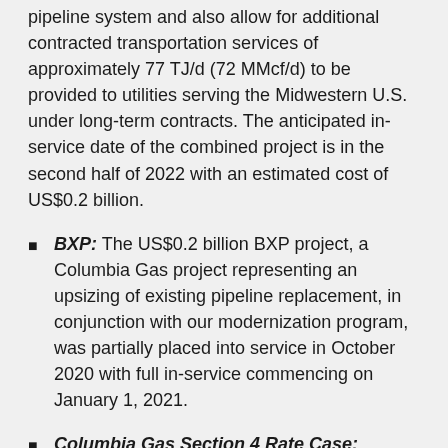pipeline system and also allow for additional contracted transportation services of approximately 77 TJ/d (72 MMcf/d) to be provided to utilities serving the Midwestern U.S. under long-term contracts. The anticipated in-service date of the combined project is in the second half of 2022 with an estimated cost of US$0.2 billion.
BXP: The US$0.2 billion BXP project, a Columbia Gas project representing an upsizing of existing pipeline replacement, in conjunction with our modernization program, was partially placed into service in October 2020 with full in-service commencing on January 1, 2021.
Columbia Gas Section 4 Rate Case: Columbia Gas filed a Section 4 Rate Case with FERC on July 31, 2020 requesting an increase to Columbia Gas' maximum transportation rates effective February 1, 2021, subject to refund. The rate case is progressing as expected as we continue to pursue a collaborative process to find a